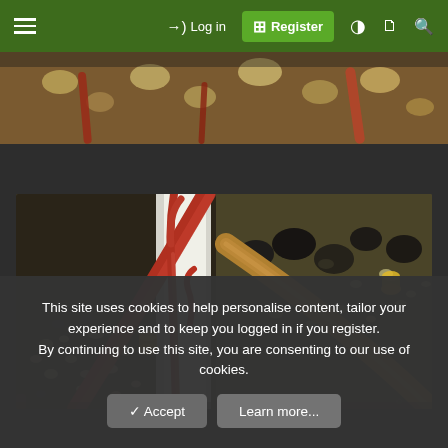≡  →) Log in  ⊞ Register  ◑  🗋  🔍
[Figure (photo): Close-up photo strip of succulent plant with pebbles/gravel, partially visible at top]
[Figure (photo): Main close-up photograph of carnivorous/succulent plant with red stems and yellow pitcher tubes growing among small gravel/pebbles in a pot]
This site uses cookies to help personalise content, tailor your experience and to keep you logged in if you register.
By continuing to use this site, you are consenting to our use of cookies.
✓ Accept   Learn more...